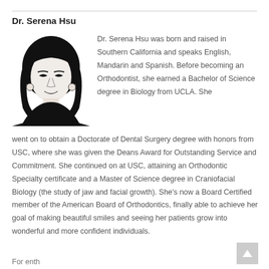Dr. Serena Hsu
[Figure (illustration): Black and white illustrated portrait of Dr. Serena Hsu, a woman with shoulder-length dark hair, shown from the shoulders up against a white background.]
Dr. Serena Hsu was born and raised in Southern California and speaks English, Mandarin and Spanish. Before becoming an Orthodontist, she earned a Bachelor of Science degree in Biology from UCLA. She went on to obtain a Doctorate of Dental Surgery degree with honors from USC, where she was given the Deans Award for Outstanding Service and Commitment. She continued on at USC, attaining an Orthodontic Specialty certificate and a Master of Science degree in Craniofacial Biology (the study of jaw and facial growth). She's now a Board Certified member of the American Board of Orthodontics, finally able to achieve her goal of making beautiful smiles and seeing her patients grow into wonderful and more confident individuals.
For enth...